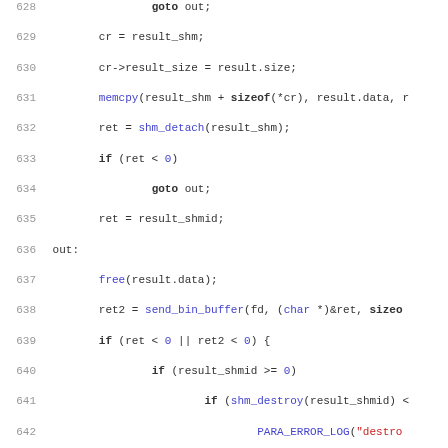Source code listing, lines 628-659, C programming language